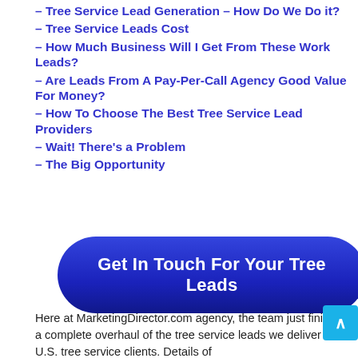– Tree Service Lead Generation – How Do We Do it?
– Tree Service Leads Cost
– How Much Business Will I Get From These Work Leads?
– Are Leads From A Pay-Per-Call Agency Good Value For Money?
– How To Choose The Best Tree Service Lead Providers
– Wait! There's a Problem
– The Big Opportunity
[Figure (other): Blue gradient CTA button with white bold text reading 'Get In Touch For Your Tree Leads']
Here at MarketingDirector.com agency, the team just finished a complete overhaul of the tree service leads we deliver to U.S. tree service clients. Details of